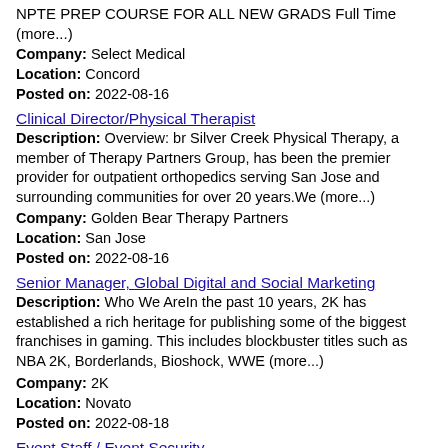NPTE PREP COURSE FOR ALL NEW GRADS Full Time (more...)
Company: Select Medical
Location: Concord
Posted on: 2022-08-16
Clinical Director/Physical Therapist
Description: Overview: br Silver Creek Physical Therapy, a member of Therapy Partners Group, has been the premier provider for outpatient orthopedics serving San Jose and surrounding communities for over 20 years.We (more...)
Company: Golden Bear Therapy Partners
Location: San Jose
Posted on: 2022-08-16
Senior Manager, Global Digital and Social Marketing
Description: Who We AreIn the past 10 years, 2K has established a rich heritage for publishing some of the biggest franchises in gaming. This includes blockbuster titles such as NBA 2K, Borderlands, Bioshock, WWE (more...)
Company: 2K
Location: Novato
Posted on: 2022-08-18
Event Staff / Event Security
Description: EVENT STAFF / EVENT SECURITY / LIVE SPORTING EVENTS AND CONCERTSCome join the exciting world of sports and entertainment events. Landmark Event...